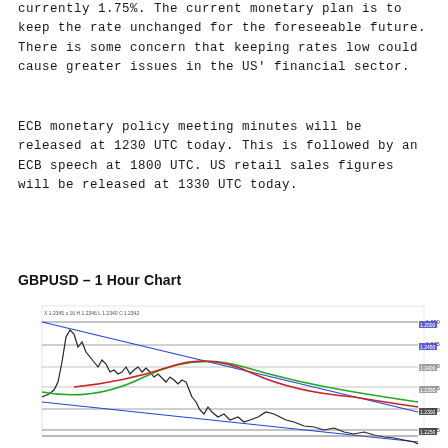currently 1.75%. The current monetary plan is to keep the rate unchanged for the foreseeable future. There is some concern that keeping rates low could cause greater issues in the US' financial sector.
ECB monetary policy meeting minutes will be released at 1230 UTC today. This is followed by an ECB speech at 1800 UTC. US retail sales figures will be released at 1330 UTC today.
GBPUSD – 1 Hour Chart
[Figure (continuous-plot): GBPUSD 1 Hour Chart showing price action with candlesticks/line, horizontal support/resistance levels (gray lines), a descending channel (blue diagonal lines), and overlaid moving average curves (green and red). Price shows a rise to a peak then decline with the channel narrowing to the right. Y-axis shows price levels around 1.2000-1.2500 range.]